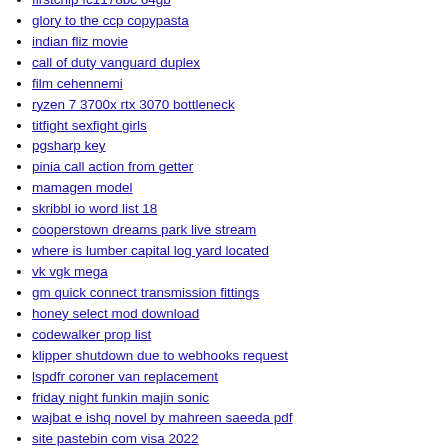firstchip fc1178bc 64gb
glory to the ccp copypasta
indian fliz movie
call of duty vanguard duplex
film cehennemi
ryzen 7 3700x rtx 3070 bottleneck
titfight sexfight girls
pgsharp key
pinia call action from getter
mamagen model
skribbl io word list 18
cooperstown dreams park live stream
where is lumber capital log yard located
vk vgk mega
gm quick connect transmission fittings
honey select mod download
codewalker prop list
klipper shutdown due to webhooks request
lspdfr coroner van replacement
friday night funkin majin sonic
wajbat e ishq novel by mahreen saeeda pdf
site pastebin com visa 2022
tds solo fallen strat
sda inspirational sermons
dff2dsf windows